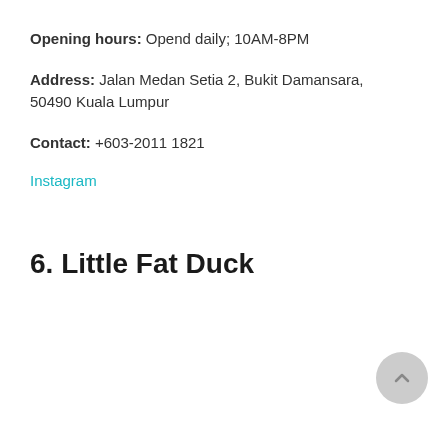Opening hours: Opend daily; 10AM-8PM
Address: Jalan Medan Setia 2, Bukit Damansara, 50490 Kuala Lumpur
Contact: +603-2011 1821
Instagram
6. Little Fat Duck